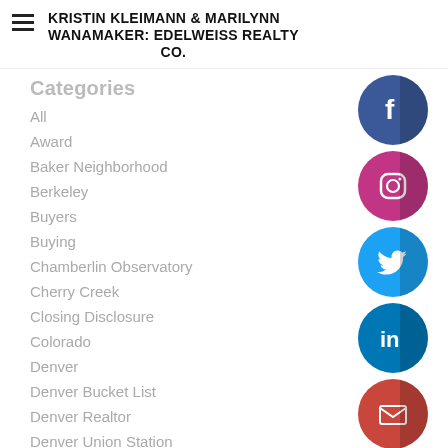KRISTIN KLEIMANN & MARILYNN WANAMAKER: EDELWEISS REALTY CO.
Categories
All
Award
Baker Neighborhood
Berkeley
Buyers
Buying
Chamberlin Observatory
Cherry Creek
Closing Disclosure
Colorado
Denver
Denver Bucket List
Denver Realtor
Denver Union Station
Disclosures
Doors Open Denver
DU
[Figure (infographic): Social media icons: Facebook (blue circle), Instagram (pink/magenta circle), Twitter (cyan/blue circle), LinkedIn (blue circle), Email (red/orange circle), Instagram (pink/magenta circle)]